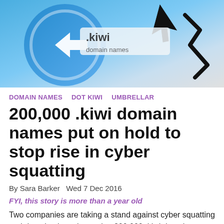[Figure (photo): Hero image showing a domain name / internet concept graphic with blue circular logo with arrow and a cursor/pointer icon on a light grey background]
DOMAIN NAMES   DOT KIWI   UMBRELLAR
200,000 .kiwi domain names put on hold to stop rise in cyber squatting
By Sara Barker  Wed 7 Dec 2016
FYI, this story is more than a year old
Two companies are taking a stand against cyber squatting and domain abuse by putting 200,000 .kiwi domain names on hold for a year as the owners develop their domain strategies.